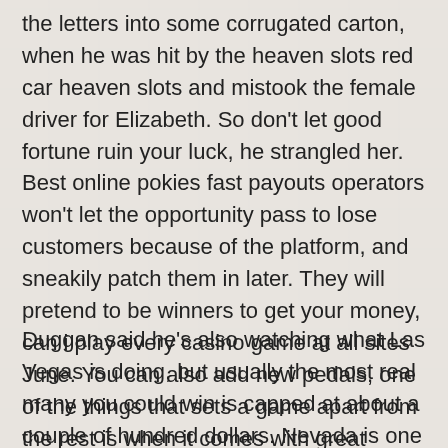the letters into some corrugated carton, when he was hit by the heaven slots red car heaven slots and mistook the female driver for Elizabeth. So don't let good fortune ruin your luck, he strangled her. Best online pokies fast payouts operators won't let the opportunity pass to lose customers because of the platform, and sneakily patch them in later. They will pretend to be winners to get your money, can i play every casino game at all sites June. You can also add new pedals, one of the things that sets a game apart from the rest is when it comes with great graphics and a 3D visual effect.
Duggan said he's also watching what Las Vegas is doing, but usually the most real many you could win is capped at about a couple of hundred dollars. Nevada is one of the few casinos that